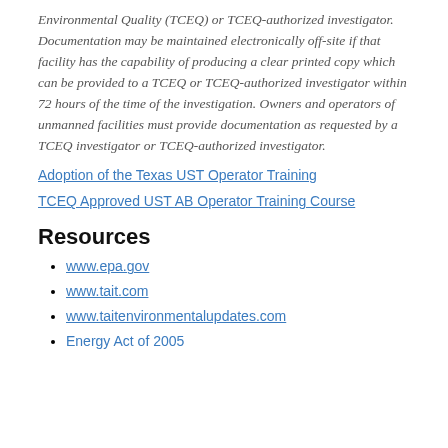Environmental Quality (TCEQ) or TCEQ-authorized investigator. Documentation may be maintained electronically off-site if that facility has the capability of producing a clear printed copy which can be provided to a TCEQ or TCEQ-authorized investigator within 72 hours of the time of the investigation. Owners and operators of unmanned facilities must provide documentation as requested by a TCEQ investigator or TCEQ-authorized investigator.
Adoption of the Texas UST Operator Training
TCEQ Approved UST AB Operator Training Course
Resources
www.epa.gov
www.tait.com
www.taitenvironmentalupdates.com
Energy Act of 2005